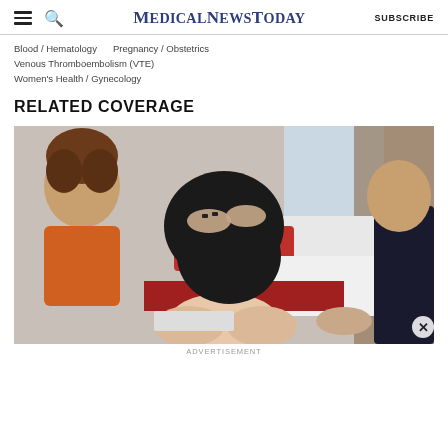MedicalNewsToday | SUBSCRIBE
Blood / Hematology  Pregnancy / Obstetrics
Venous Thromboembolism (VTE)
Women's Health / Gynecology
RELATED COVERAGE
[Figure (photo): A pregnant woman in a black top sitting on an examination table, with healthcare providers on either side examining her legs. A red pillow and white sheets are visible in the background.]
ADVERTISEMENT